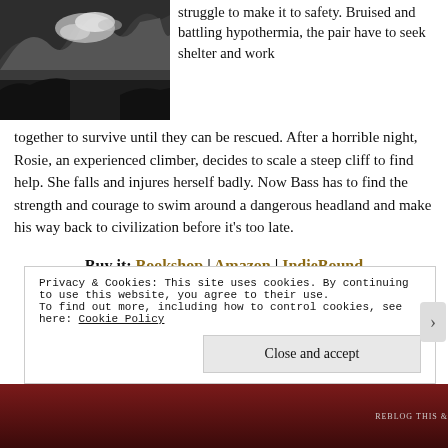[Figure (photo): Black and white photo of waves crashing, dramatic ocean scene]
struggle to make it to safety. Bruised and battling hypothermia, the pair have to seek shelter and work together to survive until they can be rescued. After a horrible night, Rosie, an experienced climber, decides to scale a steep cliff to find help. She falls and injures herself badly. Now Bass has to find the strength and courage to swim around a dangerous headland and make his way back to civilization before it's too late.
Buy it: Bookshop | Amazon | IndieBound
Privacy & Cookies: This site uses cookies. By continuing to use this website, you agree to their use.
To find out more, including how to control cookies, see here: Cookie Policy
Close and accept